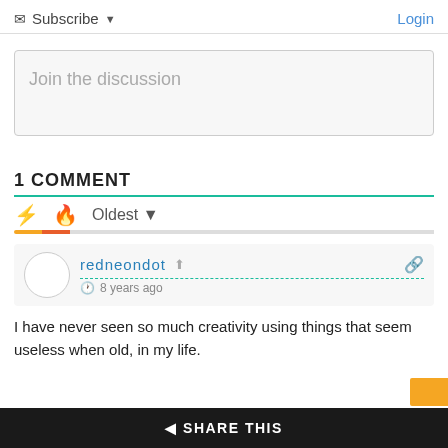Subscribe ▼  Login
Join the discussion
1 COMMENT
Oldest ▼
redneondot  8 years ago
I have never seen so much creativity using things that seem useless when old, in my life.
SHARE THIS